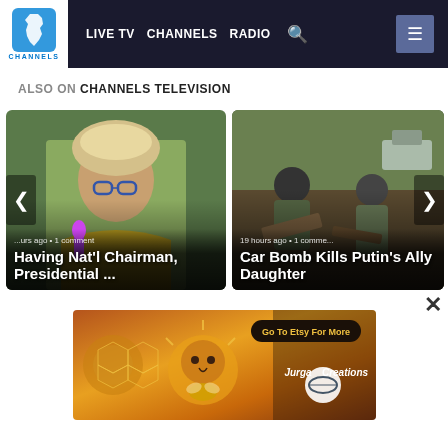[Figure (screenshot): Channels Television website navigation bar with logo, LIVE TV, CHANNELS, RADIO links, search icon, and hamburger menu]
ALSO ON CHANNELS TELEVISION
[Figure (photo): Carousel card 1: Man in turban and glasses - headline 'Having Nat'l Chairman, Presidential ...' with timestamp '...urs ago • 1 comment']
[Figure (photo): Carousel card 2: Military/emergency scene - headline 'Car Bomb Kills Putin's Ally Daughter' with timestamp '19 hours ago • 1 comme']
[Figure (photo): Advertisement banner: Etsy art ad with colorful artwork, 'Go To Etsy For More' button, and 'Jurga Creations' logo]